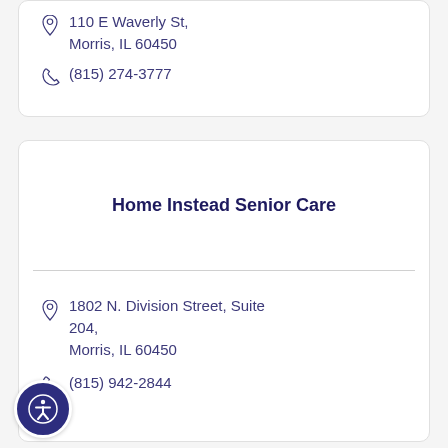110 E Waverly St, Morris, IL 60450
(815) 274-3777
Home Instead Senior Care
1802 N. Division Street, Suite 204, Morris, IL 60450
(815) 942-2844